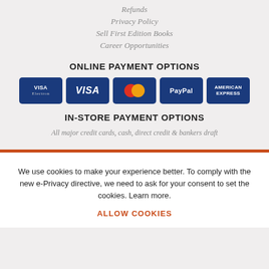Refunds
Privacy Policy
Sell First Edition Books
Career Opportunities
ONLINE PAYMENT OPTIONS
[Figure (infographic): Payment logos: Visa Electron, Visa, Mastercard, PayPal, American Express badges in blue rounded rectangles]
IN-STORE PAYMENT OPTIONS
All major credit cards, cash, direct credit & bankers draft
We use cookies to make your experience better. To comply with the new e-Privacy directive, we need to ask for your consent to set the cookies. Learn more.
ALLOW COOKIES